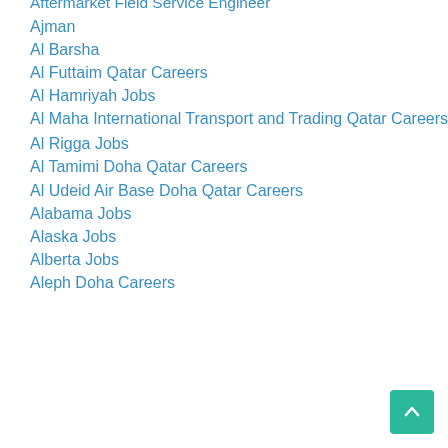Aftermarket Field Service Engineer
Ajman
Al Barsha
Al Futtaim Qatar Careers
Al Hamriyah Jobs
Al Maha International Transport and Trading Qatar Careers
Al Rigga Jobs
Al Tamimi Doha Qatar Careers
Al Udeid Air Base Doha Qatar Careers
Alabama Jobs
Alaska Jobs
Alberta Jobs
Aleph Doha Careers